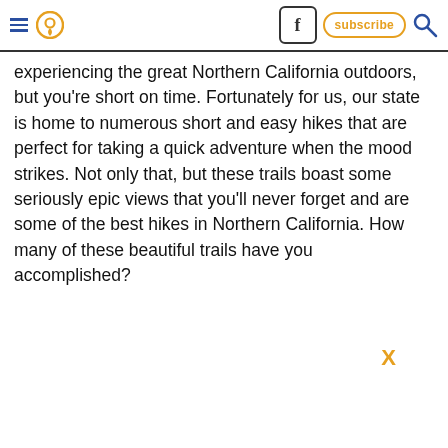Navigation bar with hamburger menu, location pin icon, Facebook button, subscribe button, search icon
experiencing the great Northern California outdoors, but you're short on time. Fortunately for us, our state is home to numerous short and easy hikes that are perfect for taking a quick adventure when the mood strikes. Not only that, but these trails boast some seriously epic views that you'll never forget and are some of the best hikes in Northern California. How many of these beautiful trails have you accomplished?
X